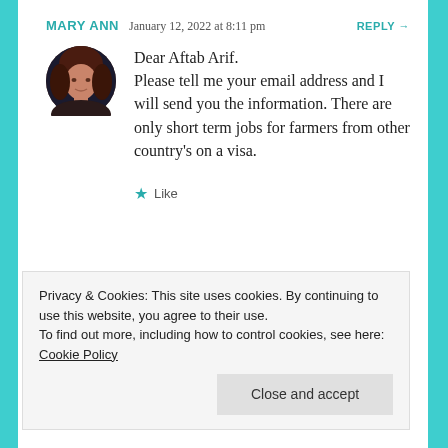MARY ANN   January 12, 2022 at 8:11 pm   REPLY →
[Figure (photo): Circular profile photo of a woman with brown hair]
Dear Aftab Arif. Please tell me your email address and I will send you the information. There are only short term jobs for farmers from other country's on a visa.
★ Like
Privacy & Cookies: This site uses cookies. By continuing to use this website, you agree to their use.
To find out more, including how to control cookies, see here: Cookie Policy
Close and accept